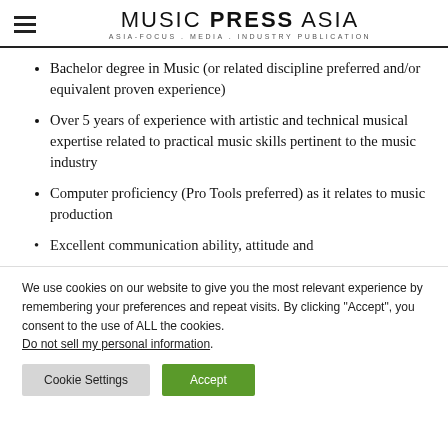MUSIC PRESS ASIA — ASIA-FOCUS . MEDIA . INDUSTRY PUBLICATION
Bachelor degree in Music (or related discipline preferred and/or equivalent proven experience)
Over 5 years of experience with artistic and technical musical expertise related to practical music skills pertinent to the music industry
Computer proficiency (Pro Tools preferred) as it relates to music production
Excellent communication ability... (partially visible)
We use cookies on our website to give you the most relevant experience by remembering your preferences and repeat visits. By clicking “Accept”, you consent to the use of ALL the cookies. Do not sell my personal information.
Cookie Settings | Accept